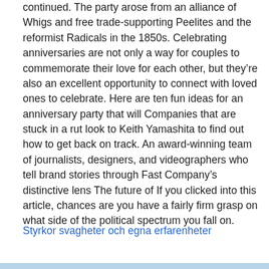continued. The party arose from an alliance of Whigs and free trade-supporting Peelites and the reformist Radicals in the 1850s. Celebrating anniversaries are not only a way for couples to commemorate their love for each other, but they're also an excellent opportunity to connect with loved ones to celebrate. Here are ten fun ideas for an anniversary party that will Companies that are stuck in a rut look to Keith Yamashita to find out how to get back on track. An award-winning team of journalists, designers, and videographers who tell brand stories through Fast Company's distinctive lens The future of If you clicked into this article, chances are you have a fairly firm grasp on what side of the political spectrum you fall on.
Styrkor svagheter och egna erfarenheter